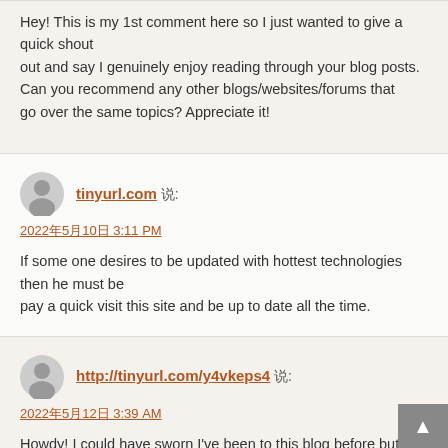Hey! This is my 1st comment here so I just wanted to give a quick shout
out and say I genuinely enjoy reading through your blog posts.
Can you recommend any other blogs/websites/forums that
go over the same topics? Appreciate it!
tinyurl.com 说:
2022年5月10日 3:11 PM
If some one desires to be updated with hottest technologies then he must be
pay a quick visit this site and be up to date all the time.
http://tinyurl.com/y4vkeps4 说:
2022年5月12日 3:39 AM
Howdy! I could have sworn I've been to this blog before but after